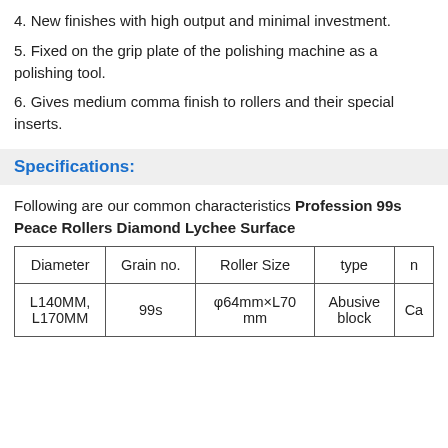4. New finishes with high output and minimal investment.
5. Fixed on the grip plate of the polishing machine as a polishing tool.
6. Gives medium comma finish to rollers and their special inserts.
Specifications:
Following are our common characteristics Profession 99s Peace Rollers Diamond Lychee Surface
| Diameter | Grain no. | Roller Size | type | n |
| --- | --- | --- | --- | --- |
| L140MM, L170MM | 99s | φ64mm×L70 mm | Abusive block | Ca |